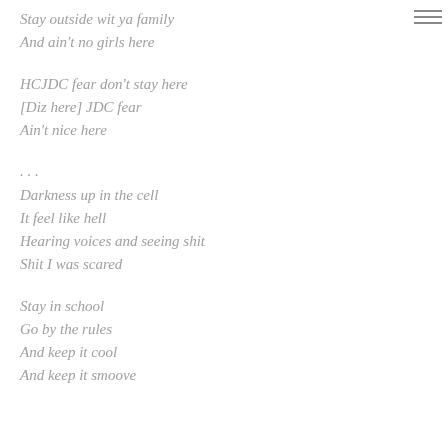Stay outside wit ya family
And ain't no girls here
HCJDC fear don't stay here
[Diz here] JDC fear
Ain't nice here
. . .
Darkness up in the cell
It feel like hell
Hearing voices and seeing shit
Shit I was scared
Stay in school
Go by the rules
And keep it cool
And keep it smoove